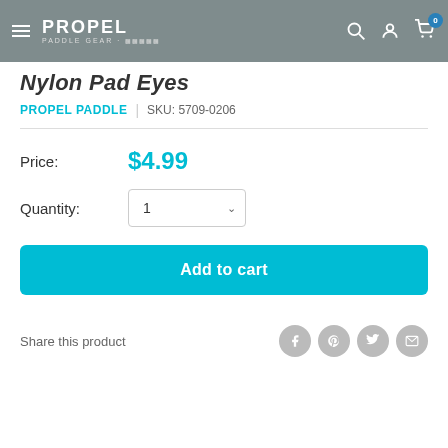PROPEL PADDLE GEAR — Navigation header with hamburger menu, logo, search, account, and cart icons
Nylon Pad Eyes
PROPEL PADDLE | SKU: 5709-0206
Price: $4.99
Quantity: 1
Add to cart
Share this product